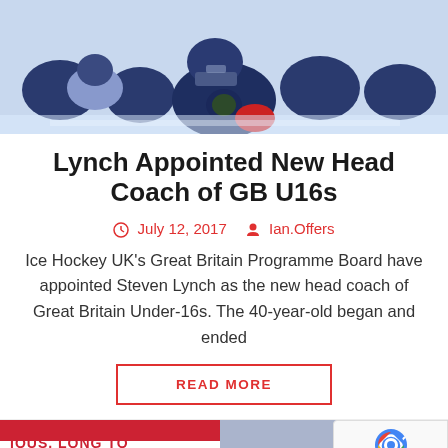[Figure (photo): Ice hockey players in dark blue GB jerseys sitting/kneeling on ice, one player prominent in center wearing jersey number 7 with thistle logo, red gloves visible]
Lynch Appointed New Head Coach of GB U16s
July 12, 2017   Ian.Offers
Ice Hockey UK's Great Britain Programme Board have appointed Steven Lynch as the new head coach of Great Britain Under-16s. The 40-year-old began and ended
READ MORE
[Figure (photo): Partial photo at bottom showing GB hockey jerseys in red, white and blue colors with text 'IOUS, LONG TO' visible]
[Figure (logo): reCAPTCHA badge with google reCAPTCHA logo, Privacy and Terms links]